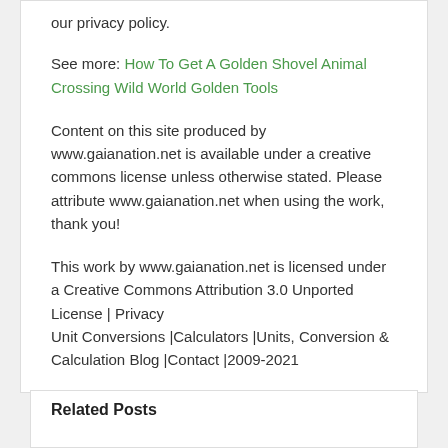our privacy policy.
See more: How To Get A Golden Shovel Animal Crossing Wild World Golden Tools
Content on this site produced by www.gaianation.net is available under a creative commons license unless otherwise stated. Please attribute www.gaianation.net when using the work, thank you!
This work by www.gaianation.net is licensed under a Creative Commons Attribution 3.0 Unported License | Privacy
Unit Conversions |Calculators |Units, Conversion & Calculation Blog |Contact |2009-2021
Related Posts